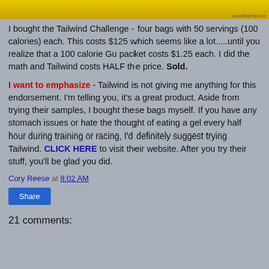[Figure (photo): Top portion of a product photo with yellow background, partially cropped. Watermark text 'www.fastcory.com' visible in lower right.]
I bought the Tailwind Challenge - four bags with 50 servings (100 calories) each. This costs $125 which seems like a lot.....until you realize that a 100 calorie Gu packet costs $1.25 each. I did the math and Tailwind costs HALF the price. Sold.
I want to emphasize - Tailwind is not giving me anything for this endorsement. I'm telling you, it's a great product. Aside from trying their samples, I bought these bags myself. If you have any stomach issues or hate the thought of eating a gel every half hour during training or racing, I'd definitely suggest trying Tailwind. CLICK HERE to visit their website. After you try their stuff, you'll be glad you did.
Cory Reese at 8:02 AM
Share
21 comments: